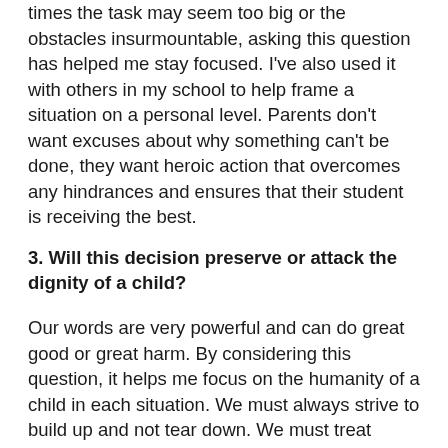times the task may seem too big or the obstacles insurmountable, asking this question has helped me stay focused. I've also used it with others in my school to help frame a situation on a personal level. Parents don't want excuses about why something can't be done, they want heroic action that overcomes any hindrances and ensures that their student is receiving the best.
3. Will this decision preserve or attack the dignity of a child?
Our words are very powerful and can do great good or great harm. By considering this question, it helps me focus on the humanity of a child in each situation. We must always strive to build up and not tear down. We must treat others with dignity and respect. As Todd Whitaker writes, great teachers and principals treat every student like they are good. We must presume positive intentions and come alongside